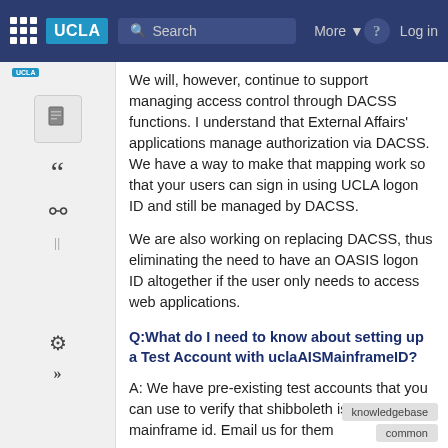UCLA | Search | More | ? | Log in
We will, however, continue to support managing access control through DACSS functions. I understand that External Affairs' applications manage authorization via DACSS. We have a way to make that mapping work so that your users can sign in using UCLA logon ID and still be managed by DACSS.
We are also working on replacing DACSS, thus eliminating the need to have an OASIS logon ID altogether if the user only needs to access web applications.
Q:What do I need to know about setting up a Test Account with uclaAISMainframeID?
A: We have pre-existing test accounts that you can use to verify that shibboleth is delivering mainframe id. Email us for them
knowledgebase common